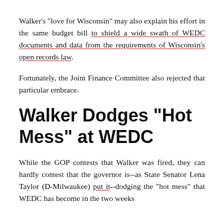Walker's "love for Wisconsin" may also explain his effort in the same budget bill to shield a wide swath of WEDC documents and data from the requirements of Wisconsin's open records law.
Fortunately, the Joint Finance Committee also rejected that particular embrace.
Walker Dodges "Hot Mess" at WEDC
While the GOP contests that Walker was fired, they can hardly contest that the governor is--as State Senator Lena Taylor (D-Milwaukee) put it--dodging the "hot mess" that WEDC has become in the two weeks